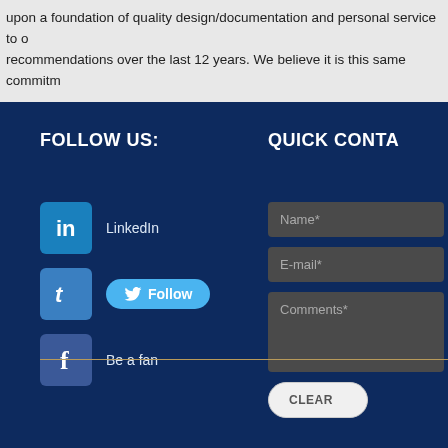upon a foundation of quality design/documentation and personal service to our clients and their recommendations over the last 12 years. We believe it is this same commitment…
FOLLOW US:
QUICK CONTA…
LinkedIn
Follow
Be a fan
Name*
E-mail*
Comments*
CLEAR